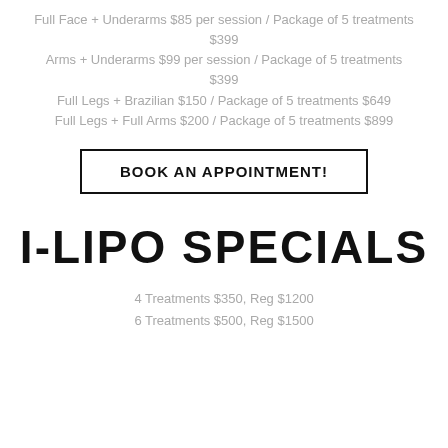Full Face + Underarms $85 per session / Package of 5 treatments $399
Arms + Underarms $99 per session / Package of 5 treatments $399
Full Legs + Brazilian $150 / Package of 5 treatments $649
Full Legs + Full Arms $200 / Package of 5 treatments $899
BOOK AN APPOINTMENT!
I-LIPO SPECIALS
4 Treatments $350, Reg $1200
6 Treatments $500, Reg $1500